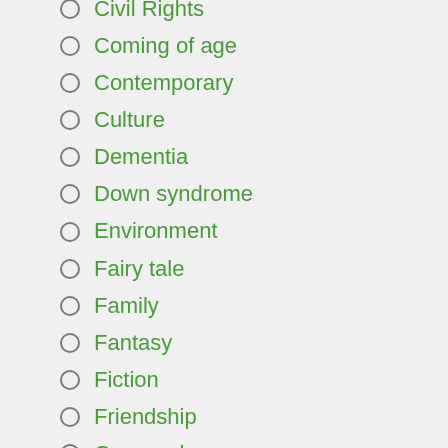Civil Rights
Coming of age
Contemporary
Culture
Dementia
Down syndrome
Environment
Fairy tale
Family
Fantasy
Fiction
Friendship
Geography
Graphic Novel
History
Home
Humor
Interpersonal relations